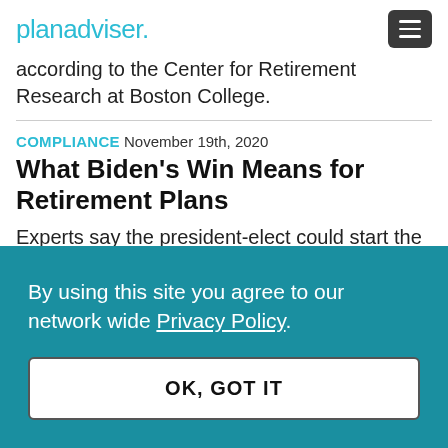planadviser.
according to the Center for Retirement Research at Boston College.
COMPLIANCE November 19th, 2020
What Biden’s Win Means for Retirement Plans
Experts say the president-elect could start the process of shoring up Social Security and embrace ESG investing.
By using this site you agree to our network wide Privacy Policy.
OK, GOT IT